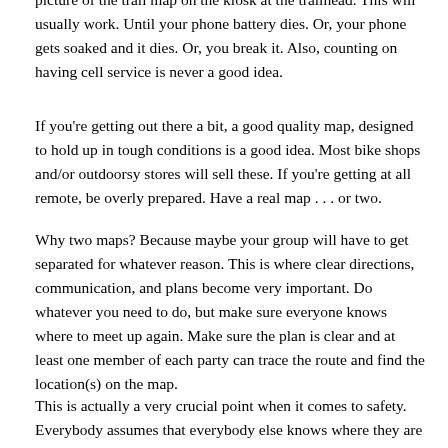picture of the trail map on the kiosk at the trailhead. This will usually work. Until your phone battery dies. Or, your phone gets soaked and it dies. Or, you break it. Also, counting on having cell service is never a good idea.
If you're getting out there a bit, a good quality map, designed to hold up in tough conditions is a good idea. Most bike shops and/or outdoorsy stores will sell these. If you're getting at all remote, be overly prepared. Have a real map . . . or two.
Why two maps? Because maybe your group will have to get separated for whatever reason. This is where clear directions, communication, and plans become very important. Do whatever you need to do, but make sure everyone knows where to meet up again. Make sure the plan is clear and at least one member of each party can trace the route and find the location(s) on the map.
This is actually a very crucial point when it comes to safety. Everybody assumes that everybody else knows where they are going when the group separates, and too often, they don't. Take the time to BE SURE that both parties knows where they are and where they're going. There are countless instances